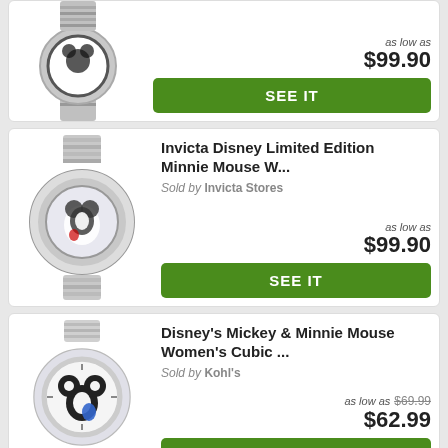[Figure (photo): Partial product card showing a Disney character watch with silver metal bracelet, cropped at top]
as low as $99.90
SEE IT
[Figure (photo): Invicta Disney Limited Edition Minnie Mouse watch with silver metal bracelet and decorative bezel]
Invicta Disney Limited Edition Minnie Mouse W...
Sold by Invicta Stores
as low as $99.90
SEE IT
[Figure (photo): Disney's Mickey and Minnie Mouse Women's Cubic watch with silver metal bracelet and white dial]
Disney's Mickey & Minnie Mouse Women's Cubic ...
Sold by Kohl's
as low as $69.99 $62.99
SEE IT